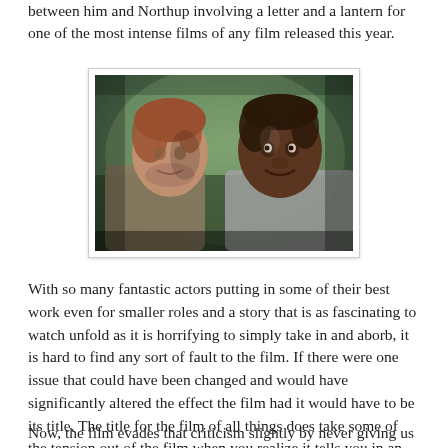between him and Northup involving a letter and a lantern for one of the most intense films of any film released this year.
[Figure (photo): A film still from '12 Years a Slave' showing two men in close proximity — a white man with reddish hair facing a Black man, both appearing tense, with a blurred outdoor background.]
With so many fantastic actors putting in some of their best work even for smaller roles and a story that is as fascinating to watch unfold as it is horrifying to simply take in and aborb, it is hard to find any sort of fault to the film. If there were one issue that could have been changed and would have significantly altered the effect the film had it would have to be its title. The title for the film of all things does take some of the tension out of the film when you realize it tells you in an indirect manner that Northup's persecution will only last that many number of years.
Now, the film evades that criticism slightly by never giving us any real sense of time passing aside from Northup getting